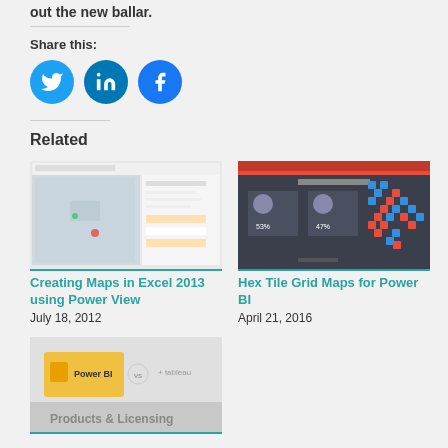out the new ballar.
Share this:
[Figure (other): Social share icons: Twitter (blue circle), LinkedIn (blue circle), Facebook (blue circle)]
Related
[Figure (screenshot): Screenshot of Creating Maps in Excel 2013 using Power View - showing a map interface with geographic visualization]
Creating Maps in Excel 2013 using Power View
July 18, 2012
[Figure (screenshot): Screenshot of Hex Tile Grid Maps for Power BI - showing a US map with red and blue hex tiles representing election data]
Hex Tile Grid Maps for Power BI
April 21, 2016
[Figure (screenshot): Screenshot of Comparing Power BI and Tableau - Products and Licensing comparison showing Power BI logo vs Tableau logo]